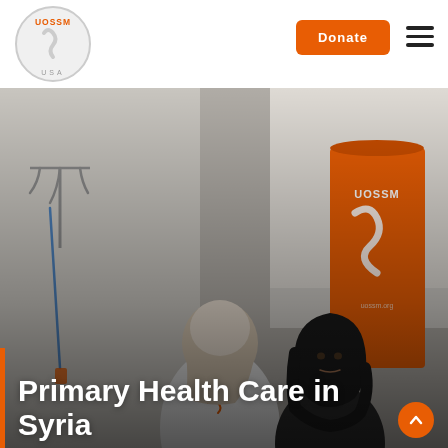[Figure (logo): UOSSM USA circular logo with orange text UOSSM, grey squiggle/snake design, and USA text at bottom]
[Figure (other): Orange rounded rectangle Donate button in page header navigation]
[Figure (photo): Photo of a medical consultation scene inside a clinic. A healthcare worker in white UOSSM uniform is speaking with an older woman in a black hijab. An orange UOSSM branded banner stands in the background. Medical equipment (IV hooks) visible on the left wall.]
Primary Health Care in Syria